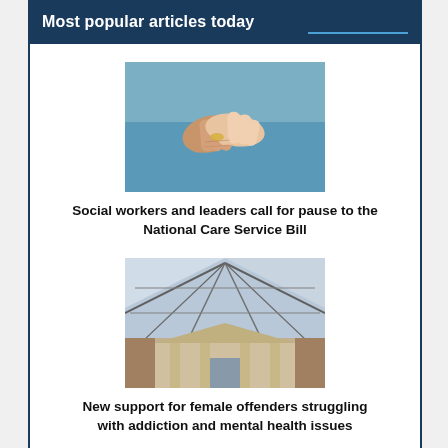Most popular articles today
[Figure (photo): Two hands clasped together, one wearing a ring, against a blue background — a caregiving scene]
Social workers and leaders call for pause to the National Care Service Bill
[Figure (photo): Interior of a large public building with glass roof and classical architecture — a prison or courthouse atrium]
New support for female offenders struggling with addiction and mental health issues
[Figure (photo): Person sitting cross-legged holding a green-capped medication bottle or container]